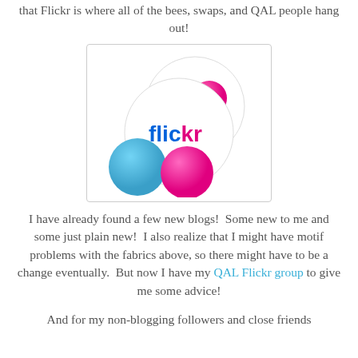that Flickr is where all of the bees, swaps, and QAL people hang out!
[Figure (logo): Flickr logo with colorful circles — a large white circle with smaller blue and pink circles, and the word 'flickr' in blue and pink text]
I have already found a few new blogs!  Some new to me and some just plain new!  I also realize that I might have motif problems with the fabrics above, so there might have to be a change eventually.  But now I have my QAL Flickr group to give me some advice!
And for my non-blogging followers and close friends